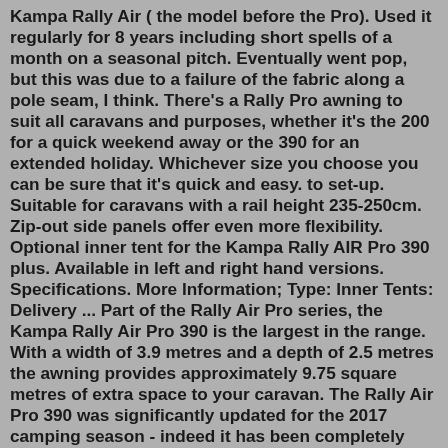Kampa Rally Air ( the model before the Pro). Used it regularly for 8 years including short spells of a month on a seasonal pitch. Eventually went pop, but this was due to a failure of the fabric along a pole seam, I think. There's a Rally Pro awning to suit all caravans and purposes, whether it's the 200 for a quick weekend away or the 390 for an extended holiday. Whichever size you choose you can be sure that it's quick and easy. to set-up. Suitable for caravans with a rail height 235-250cm. Zip-out side panels offer even more flexibility. Optional inner tent for the Kampa Rally AIR Pro 390 plus. Available in left and right hand versions. Specifications. More Information; Type: Inner Tents: Delivery ... Part of the Rally Air Pro series, the Kampa Rally Air Pro 390 is the largest in the range. With a width of 3.9 metres and a depth of 2.5 metres the awning provides approximately 9.75 square metres of extra space to your caravan. The Rally Air Pro 390 was significantly updated for the 2017 camping season - indeed it has been completely redesigned 2019 Kampa Club AIR Pro 390 Plus -